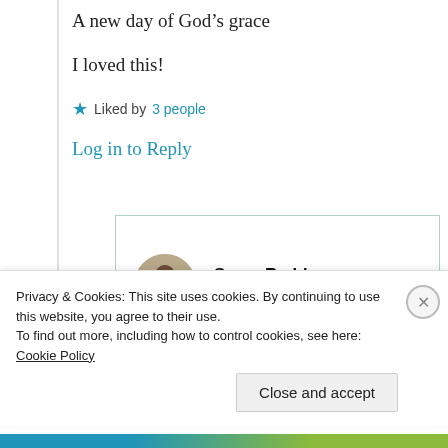A new day of God’s grace
I loved this!
★ Liked by 3 people
Log in to Reply
Suma Reddy
25th Jun 2021 at 6:42 pm
Privacy & Cookies: This site uses cookies. By continuing to use this website, you agree to their use.
To find out more, including how to control cookies, see here: Cookie Policy
Close and accept